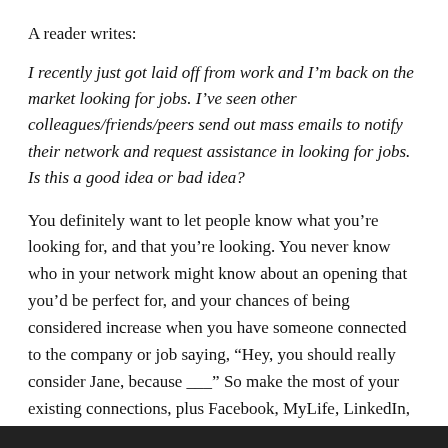A reader writes:
I recently just got laid off from work and I’m back on the market looking for jobs. I’ve seen other colleagues/friends/peers send out mass emails to notify their network and request assistance in looking for jobs. Is this a good idea or bad idea?
You definitely want to let people know what you’re looking for, and that you’re looking. You never know who in your network might know about an opening that you’d be perfect for, and your chances of being considered increase when you have someone connected to the company or job saying, “Hey, you should really consider Jane, because ___.” So make the most of your existing connections, plus Facebook, MyLife, LinkedIn, Twitter — they all can be useful when you’re looking for a job.